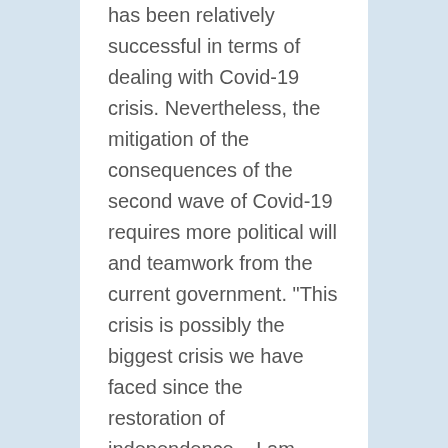has been relatively successful in terms of dealing with Covid-19 crisis. Nevertheless, the mitigation of the consequences of the second wave of Covid-19 requires more political will and teamwork from the current government. "This crisis is possibly the biggest crisis we have faced since the restoration of independence... I am confident that with government and society working together we will overcome this virus," Prime Minister of Latvia, Krišjānis Kariņš concluded. Along with this, several important political events like extraordinary elections to the Riga City Council and administrative-territorial reform made their way to the political agenda of 2020.